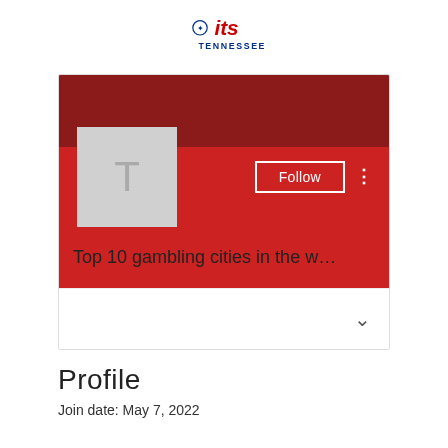[Figure (logo): ITS Tennessee logo with star icon, blue 'its' text and red 'TENNESSEE' text below]
[Figure (screenshot): A social media profile card with dark red banner, avatar placeholder showing letter T, Follow button, three-dot menu, title 'Top 10 gambling cities in the w…', and a white bottom section with a chevron arrow]
Profile
Join date: May 7, 2022